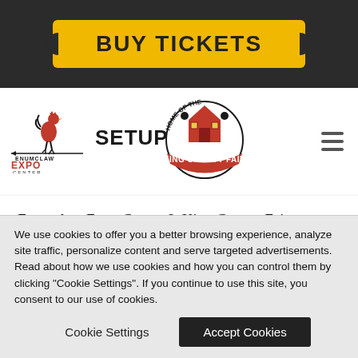[Figure (infographic): Dark header bar with a yellow/gold ticket-shaped Buy Tickets button with bold uppercase text]
[Figure (logo): Enumclaw Expo Center logo (rooster icon) and King County Fair logo (barn icon with horses)]
Enumclaw Expo Center & King County Fair maintains industry standard encryption technologies to ensure the security, integrity and privacy of the personal information that you provide through the website. Please keep in mind, however, that no data transmission
We use cookies to offer you a better browsing experience, analyze site traffic, personalize content and serve targeted advertisements. Read about how we use cookies and how you can control them by clicking "Cookie Settings". If you continue to use this site, you consent to our use of cookies.
Cookie Settings
Accept Cookies